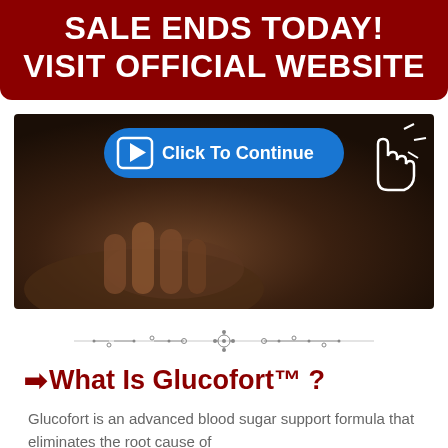SALE ENDS TODAY!
VISIT OFFICIAL WEBSITE
[Figure (photo): Dark background photo showing hands (blood glucose testing context) with a blue 'Click To Continue' button overlay and cursor icon]
[Figure (illustration): Decorative horizontal divider with floral/ornamental design]
➡What Is Glucofort™ ?
Glucofort is an advanced blood sugar support formula that eliminates the root cause of